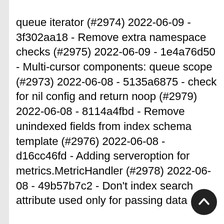queue iterator (#2974) 2022-06-09 - 3f302aa18 - Remove extra namespace checks (#2975) 2022-06-09 - 1e4a76d50 - Multi-cursor components: queue scope (#2973) 2022-06-08 - 5135a6875 - check for nil config and return noop (#2979) 2022-06-08 - 8114a4fbd - Remove unindexed fields from index schema template (#2976) 2022-06-08 - d16cc46fd - Adding serveroption for metrics.MetricHandler (#2978) 2022-06-08 - 49b57b7c2 - Don't index search attribute used only for passing data